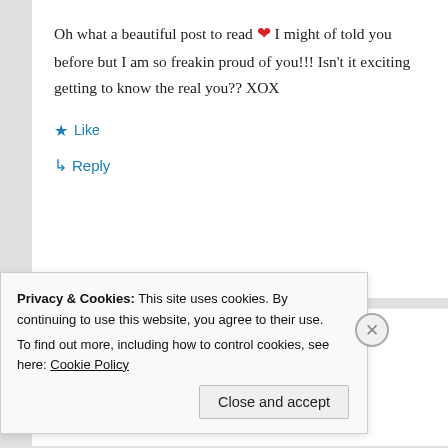Oh what a beautiful post to read ❤ I might of told you before but I am so freakin proud of you!!! Isn't it exciting getting to know the real you?? XOX
★ Like
↳ Reply
Dwight
February 27, 2019 at 1:06 pm
Privacy & Cookies: This site uses cookies. By continuing to use this website, you agree to their use.
To find out more, including how to control cookies, see here: Cookie Policy
Close and accept